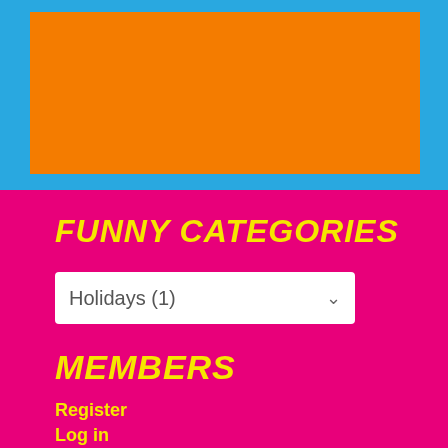[Figure (other): Orange rectangle on blue background at top of page]
FUNNY CATEGORIES
Holidays (1)
MEMBERS
Register
Log in
Entries feed